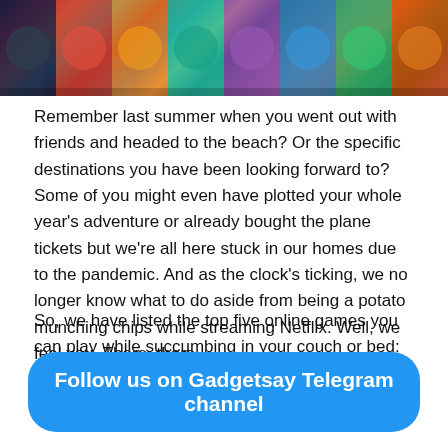[Figure (illustration): Colorful banner image featuring various animated/game characters in a collage across the top of the page]
Remember last summer when you went out with friends and headed to the beach? Or the specific destinations you have been looking forward to? Some of you might even have plotted your whole year's adventure or already bought the plane tickets but we're all here stuck in our homes due to the pandemic. And as the clock's ticking, we no longer know what to do aside from being a potato munching chips while streaming Netflix. Well, we feel you. There, there.
So, we have listed the top five online games you can play while succumbing in your couch or bed:
Follow us on Gadgetsay Telegram channel